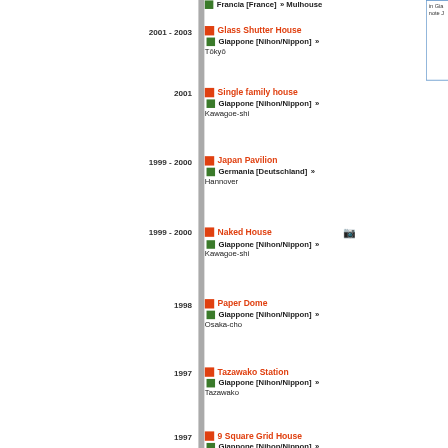Francia [France] » Mulhouse
2001 - 2003 | Glass Shutter House | Giappone [Nihon/Nippon] » Tōkyō
2001 | Single family house | Giappone [Nihon/Nippon] » Kawagoe-shi
1999 - 2000 | Japan Pavilion | Germania [Deutschland] » Hannover
1999 - 2000 | Naked House | Giappone [Nihon/Nippon] » Kawagoe-shi
1998 | Paper Dome | Giappone [Nihon/Nippon] » Osaka-cho
1997 | Tazawako Station | Giappone [Nihon/Nippon] » Tazawako
1997 | 9 Square Grid House | Giappone [Nihon/Nippon] » Hadano